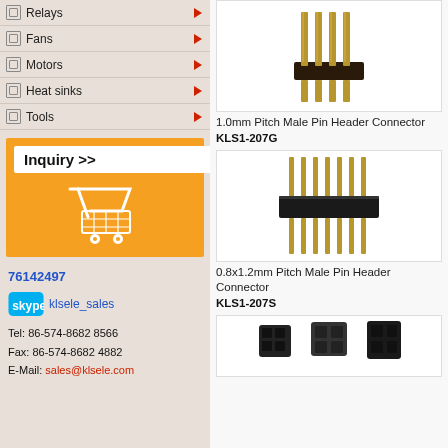Relays
Fans
Motors
Heat sinks
Tools
[Figure (illustration): Orange inquiry button with shopping cart icon]
76142497
[Figure (logo): Skype logo with klsele_sales username]
Tel: 86-574-8682 8566
Fax: 86-574-8682 4882
E-Mail: sales@klsele.com
[Figure (photo): 1.0mm Pitch Male Pin Header Connector product photo]
1.0mm Pitch Male Pin Header Connector
KLS1-207G
[Figure (photo): 0.8x1.2mm Pitch Male Pin Header Connector product photo]
0.8x1.2mm Pitch Male Pin Header Connector
KLS1-207S
[Figure (photo): Third connector product photo (partially visible)]